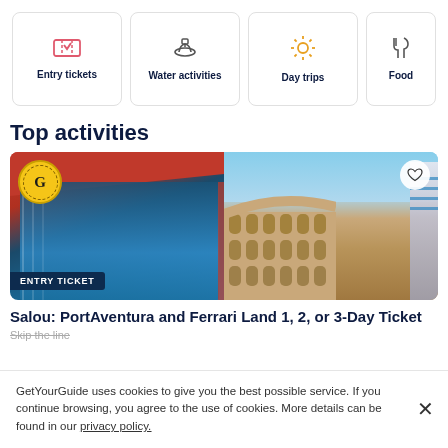[Figure (infographic): Category card: Entry tickets with pink ticket icon]
[Figure (infographic): Category card: Water activities with boat icon]
[Figure (infographic): Category card: Day trips with sun icon]
[Figure (infographic): Category card: Food (partially visible)]
Top activities
[Figure (photo): Composite photo showing PortAventura Ferrari Land building on left and Roman Colosseum on right, with GetYourGuide badge and heart icon overlay. Entry Ticket badge at bottom left.]
Salou: PortAventura and Ferrari Land 1, 2, or 3-Day Ticket
Skip the line
GetYourGuide uses cookies to give you the best possible service. If you continue browsing, you agree to the use of cookies. More details can be found in our privacy policy.